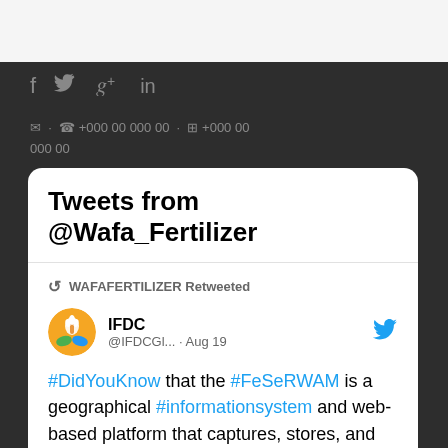[Figure (screenshot): Social media icons: Facebook, Twitter, Google+, LinkedIn in gray on dark background]
✉ · ☎ +000 00 000 00 · ⊞ +000 00 000 00
Tweets from @Wafa_Fertilizer
WAFAFERTILIZER Retweeted
IFDC @IFDCGl... · Aug 19
#DidYouKnow that the #FeSeRWAM is a geographical #informationsystem and web-based platform that captures, stores, and provides recommendations aimed at